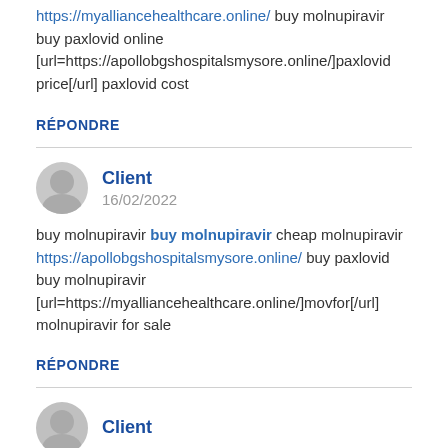https://myalliancehealthcare.online/ buy molnupiravir buy paxlovid online [url=https://apollobgshospitalsmysore.online/]paxlovid price[/url] paxlovid cost
RÉPONDRE
Client
16/02/2022
buy molnupiravir buy molnupiravir cheap molnupiravir https://apollobgshospitalsmysore.online/ buy paxlovid buy molnupiravir [url=https://myalliancehealthcare.online/]movfor[/url] molnupiravir for sale
RÉPONDRE
Client